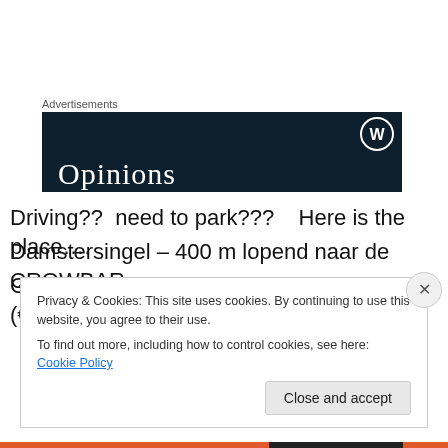Advertisements
[Figure (screenshot): Dark navy advertisement banner with WordPress logo (W in circle) top right and 'Opinions' text in large serif font at bottom left]
Driving??  need to park???    Here is the place….
Damstersingel – 400 m lopend naar de CROWBAR…
Gratis parkeren vanaf 18:00 uur…   (€1,80/uur tot 18:00 uur)
Privacy & Cookies: This site uses cookies. By continuing to use this website, you agree to their use.
To find out more, including how to control cookies, see here: Cookie Policy
Close and accept